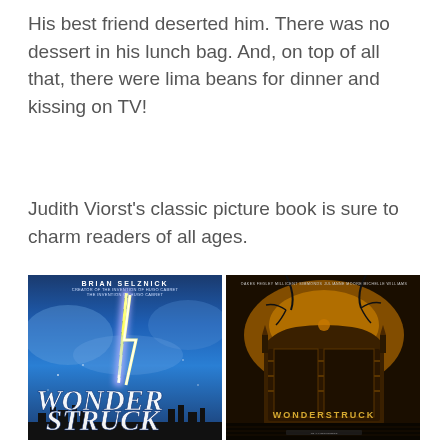His best friend deserted him. There was no dessert in his lunch bag. And, on top of all that, there were lima beans for dinner and kissing on TV!
Judith Viorst's classic picture book is sure to charm readers of all ages.
[Figure (photo): Two book/movie covers side by side. Left: 'Wonderstruck' book cover by Brian Selznick with blue sky, lightning bolt, and city silhouette. Right: 'Wonderstruck' movie poster with dark amber/orange throne-like structure.]